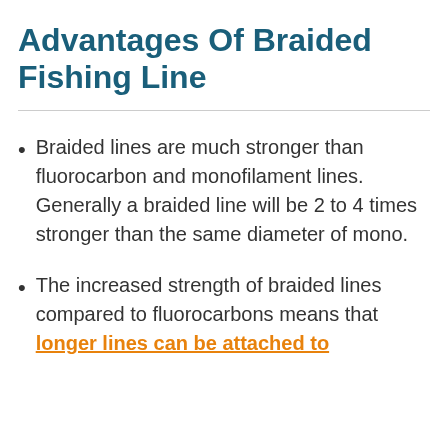Advantages Of Braided Fishing Line
Braided lines are much stronger than fluorocarbon and monofilament lines. Generally a braided line will be 2 to 4 times stronger than the same diameter of mono.
The increased strength of braided lines compared to fluorocarbons means that longer lines can be attached to